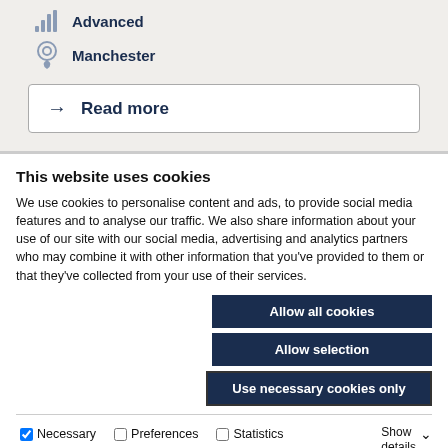Advanced
Manchester
→  Read more
This website uses cookies
We use cookies to personalise content and ads, to provide social media features and to analyse our traffic. We also share information about your use of our site with our social media, advertising and analytics partners who may combine it with other information that you've provided to them or that they've collected from your use of their services.
Allow all cookies
Allow selection
Use necessary cookies only
Necessary  Preferences  Statistics  Marketing  Show details